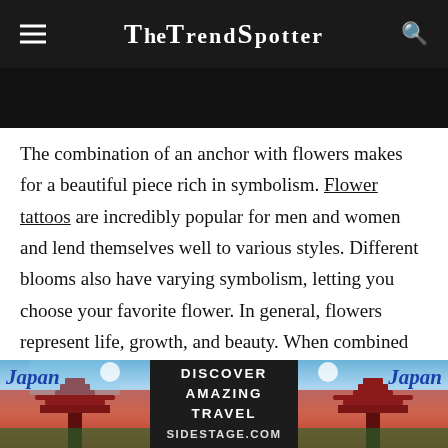TheTrendSpotter
[Figure (other): Dark banner image area below header]
The combination of an anchor with flowers makes for a beautiful piece rich in symbolism. Flower tattoos are incredibly popular for men and women and lend themselves well to various styles. Different blooms also have varying symbolism, letting you choose your favorite flower. In general, flowers represent life, growth, and beauty. When combined with an anchor design, it can add to the overall meaning and give it a softer, more feminine appearance. Perhaps your tattoo represents the importance of staying focused on the
[Figure (photo): Advertisement banner: Japan travel ad with pagoda imagery on left and right, text 'DISCOVER AMAZING TRAVEL SIDESTAGE.COM' in center]